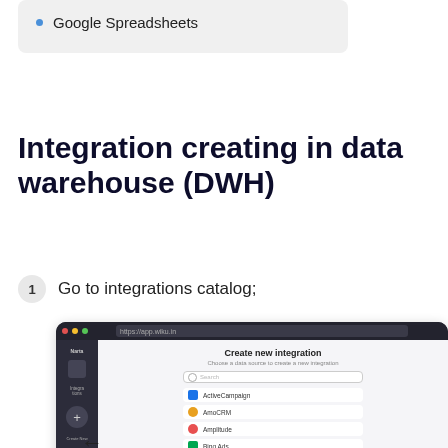Google Spreadsheets
Integration creating in data warehouse (DWH)
1  Go to integrations catalog;
[Figure (screenshot): Screenshot of a web application showing 'Create new integration' dialog with a list of data source integrations including ActiveCampaign, AmoCRM, Amplitude, Bing Ads, Calltouch, with a sidebar navigation and a left-pointing arrow indicator.]